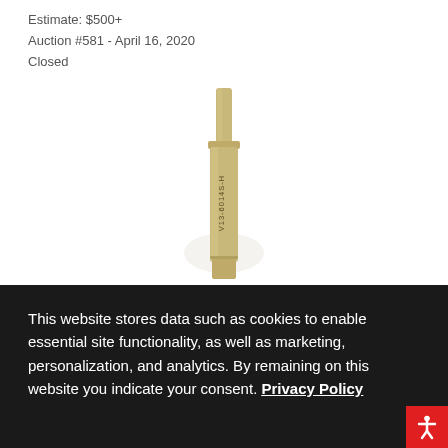Estimate: $500+
Auction #581 - April 16, 2020
Closed
[Figure (photo): A gold/brass colored cylindrical pin or probe with a narrow tip at top and wider body below, with text 'V13-6014S-H' printed vertically on the body, photographed against a white background.]
This website stores data such as cookies to enable essential site functionality, as well as marketing, personalization, and analytics. By remaining on this website you indicate your consent. Privacy Policy